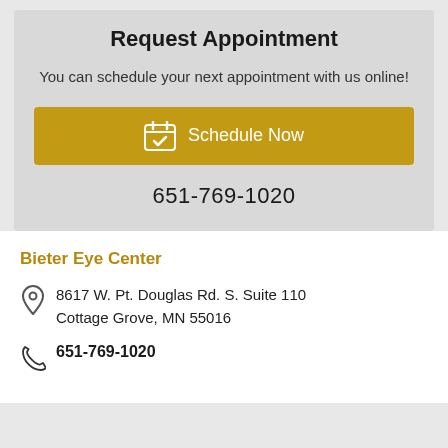Request Appointment
You can schedule your next appointment with us online!
Schedule Now
651-769-1020
Bieter Eye Center
8617 W. Pt. Douglas Rd. S. Suite 110
Cottage Grove, MN 55016
651-769-1020